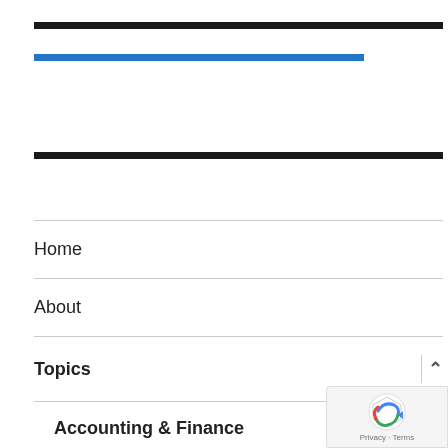Home
About
Topics
Accounting & Finance
Banking